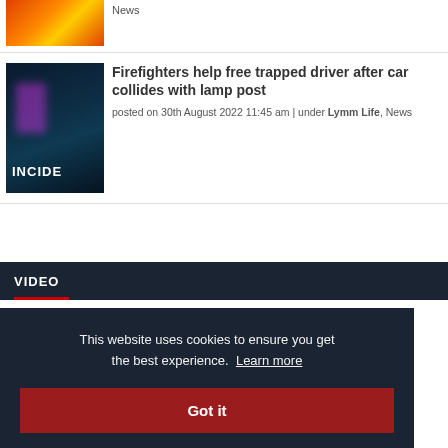[Figure (photo): Partial view of fire truck with orange/yellow chevrons at top]
News
[Figure (photo): Fire incident scene with text 'INCIDE' overlay on dark blue background]
Firefighters help free trapped driver after car collides with lamp post
posted on 30th August 2022 11:45 am | under Lymm Life, News
VIDEO
This website uses cookies to ensure you get the best experience.  Learn more
Got it
at town Hall